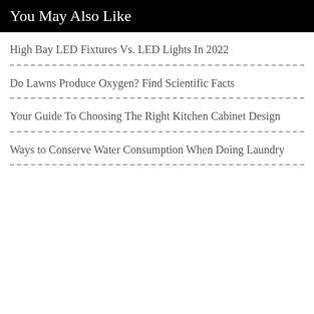You May Also Like
High Bay LED Fixtures Vs. LED Lights In 2022
Do Lawns Produce Oxygen? Find Scientific Facts
Your Guide To Choosing The Right Kitchen Cabinet Design
Ways to Conserve Water Consumption When Doing Laundry